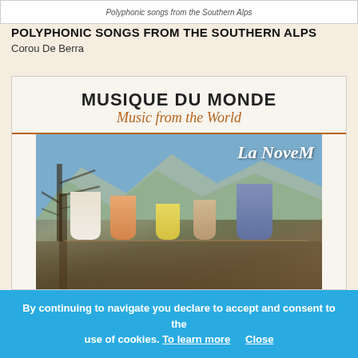Polyphonic songs from the Southern Alps
POLYPHONIC SONGS FROM THE SOUTHERN ALPS
Corou De Berra
[Figure (photo): Album cover for La Novem by Corou De Berra on Musique Du Monde / Music from the World label. Shows clothes hanging on a clothesline with alpine mountains and bare trees in the background.]
By continuing to navigate you declare to accept and consent to the use of cookies. To learn more   Close